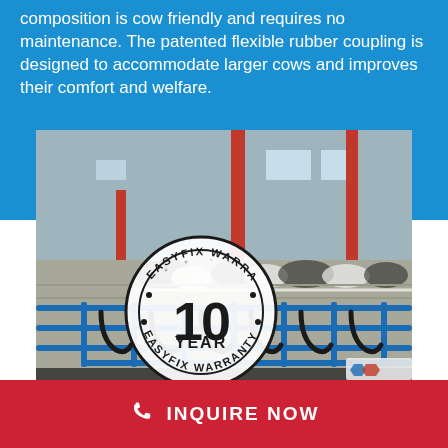composition is cow friendly and requires no maintenance. The patented flexible rubber coupling is designed to accommodate larger cows and improves their comfort and welfare.
[Figure (photo): Interior of a cattle barn with blue pipe cubicle frames and black rubber brisket boards. Black and white dairy cows visible in the background. A circular stamp overlay reads 'EASYFIX WARRANTY 10 YEAR EASYFIX WARRANTY'. Small logo in bottom right corner.]
INQUIRE NOW